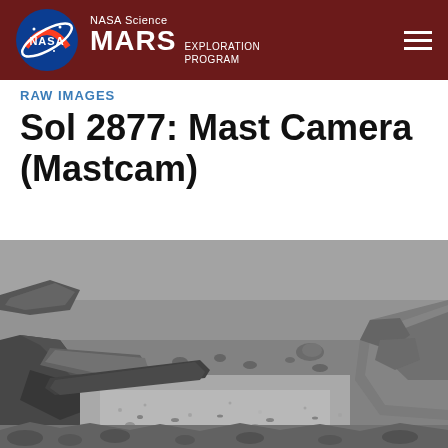NASA Science MARS EXPLORATION PROGRAM
RAW IMAGES
Sol 2877: Mast Camera (Mastcam)
[Figure (photo): Black and white raw image from NASA Mars Curiosity Rover Mastcam showing Martian surface with rocks, pebbles, and sandy terrain. Rocky outcroppings visible on left and right sides, with a flatter sandy area in the middle distance.]